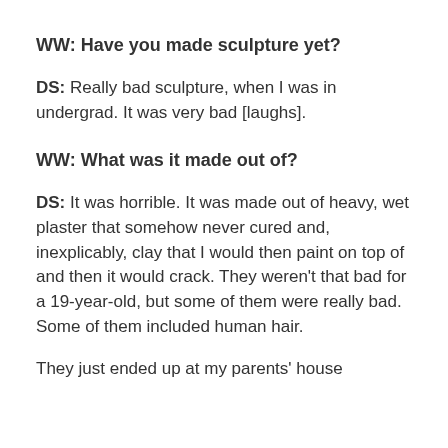WW: Have you made sculpture yet?
DS: Really bad sculpture, when I was in undergrad. It was very bad [laughs].
WW: What was it made out of?
DS: It was horrible. It was made out of heavy, wet plaster that somehow never cured and, inexplicably, clay that I would then paint on top of and then it would crack. They weren't that bad for a 19-year-old, but some of them were really bad. Some of them included human hair.
They just ended up at my parents' house